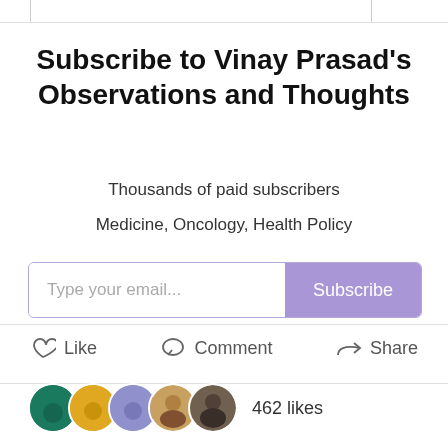Subscribe to Vinay Prasad's Observations and Thoughts
Thousands of paid subscribers
Medicine, Oncology, Health Policy
[Figure (screenshot): Email subscription input field with 'Type your email...' placeholder and a purple 'Subscribe' button]
[Figure (infographic): Action bar with Like, Comment, and Share buttons with icons]
[Figure (infographic): Row of 5 overlapping circular user avatars followed by '462 likes' text]